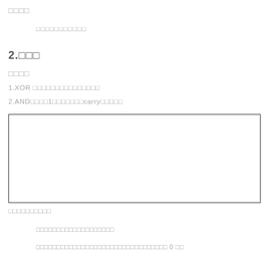□□□□
□□□□□□□□□□□
2.□□□
□□□□
1.XOR □□□□□□□□□□□□□□□
2.AND□□□□1□□□□□□□carry□□□□□
[Figure (other): Empty bordered rectangle region for diagram or figure]
□□□□□□□□□□
□□□□□□□□□□□□□□□□□□□
□□□□□□□□□□□□□□□□□□□□□□□□□□□□□□□□ 0 □□